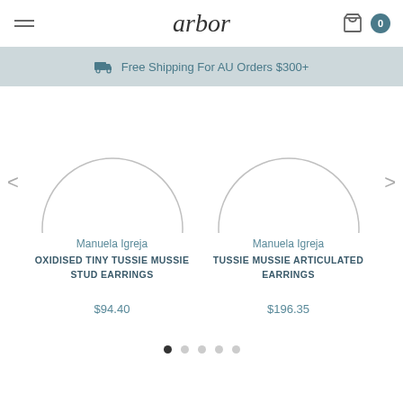arbor
Free Shipping For AU Orders $300+
[Figure (photo): Product image of Oxidised Tiny Tussie Mussie Stud Earrings - circular earring shape shown from below]
Manuela Igreja
OXIDISED TINY TUSSIE MUSSIE STUD EARRINGS
$94.40
[Figure (photo): Product image of Tussie Mussie Articulated Earrings - circular earring shape shown from below]
Manuela Igreja
TUSSIE MUSSIE ARTICULATED EARRINGS
$196.35